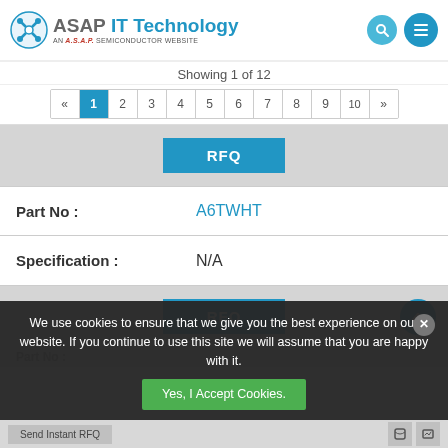ASAP IT Technology — AN A.S.A.P. SEMICONDUCTOR WEBSITE
Showing 1 of 12
« 1 2 3 4 5 6 7 8 9 10 »
RFQ
| Field | Value |
| --- | --- |
| Part No : | A6TWHT |
| Specification : | N/A |
RFQ
We use cookies to ensure that we give you the best experience on our website. If you continue to use this site we will assume that you are happy with it.
Yes, I Accept Cookies.
Part No :
Send Instant RFQ